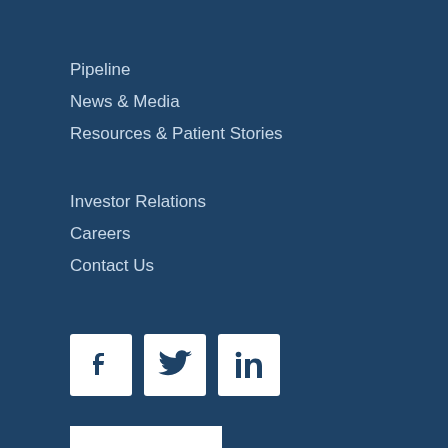Pipeline
News & Media
Resources & Patient Stories
Investor Relations
Careers
Contact Us
[Figure (illustration): Three social media icon buttons: Facebook (f), Twitter (bird), LinkedIn (in), white icons on white square backgrounds with dark blue background]
[Figure (logo): NRx Pharmaceuticals logo — white NRx letters on white rectangle background]